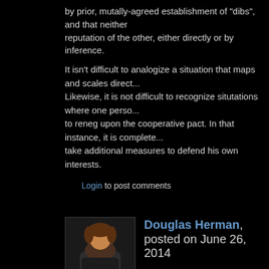by prior, mutally-agreed establishment of "dibs", and that neither reputation of the other, either directly or by inference.
It isn't difficult to analogize a situation that maps and scales direct... Likewise, it is not difficult to recognize situtations where one perso... to reneg upon the cooperative pact. In that instance, it is complete... take additional measures to defend his own interests.
Login to post comments
Douglas Herman, posted on June 26, 2014
Hi Mark,
    Excellent use of lifeboat metaphor - or is it anology?
You wrote: "After disasters, most people in most neighborhoods o... been through some hard blowing, window breaking, tree clearing,... single one had passed (some before) my neighbors all came out
    NOt sure where you were, but after Andrew and Katrina, it was around and made things worse.
    Anyway, keep up the good work.  And as for Lifeboat mentality,... we resort to inflatable life rafts, survival suits, flares and radios.
    At this point in 'Murica it is: "Mayday, Mayday - This is vessel Am